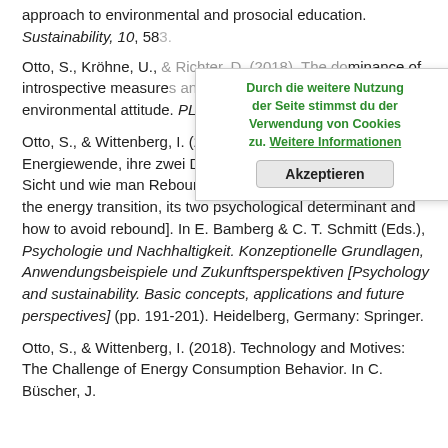approach to environmental and prosocial education. Sustainability, 10, 583.
Otto, S., Kröhne, U., & Richter, D. (2018). The dominance of introspective measures and the example of environmental attitude. PLOS ONE, 13(2), e0192907.
Otto, S., & Wittenberg, I. (2018). Die Praxis der Energiewende, ihre zwei Determinanten aus psychologischer Sicht und wie man Rebound vermeiden kann. [The reality of the energy transition, its two psychological determinant and how to avoid rebound]. In E. Bamberg & C. T. Schmitt (Eds.), Psychologie und Nachhaltigkeit. Konzeptionelle Grundlagen, Anwendungsbeispiele und Zukunftsperspektiven [Psychology and sustainability. Basic concepts, applications and future perspectives] (pp. 191-201). Heidelberg, Germany: Springer.
Otto, S., & Wittenberg, I. (2018). Technology and Motives: The Challenge of Energy Consumption Behavior. In C. Büscher, J.